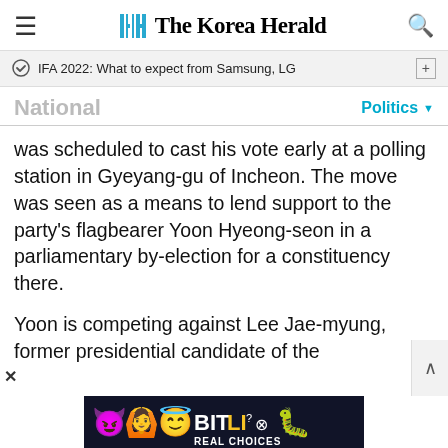The Korea Herald
IFA 2022: What to expect from Samsung, LG
National
Politics
was scheduled to cast his vote early at a polling station in Gyeyang-gu of Incheon. The move was seen as a means to lend support to the party's flagbearer Yoon Hyeong-seon in a parliamentary by-election for a constituency there.
Yoon is competing against Lee Jae-myung, former presidential candidate of the
[Figure (illustration): BitLife Real Choices advertisement banner with cartoon emojis (devil, girl with arms up, angel face, sperm emoji) on dark background]